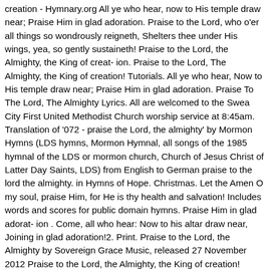creation - Hymnary.org All ye who hear, now to His temple draw near; Praise Him in glad adoration. Praise to the Lord, who o'er all things so wondrously reigneth, Shelters thee under His wings, yea, so gently sustaineth! Praise to the Lord, the Almighty, the King of creat- ion. Praise to the Lord, The Almighty, the King of creation! Tutorials. All ye who hear, Now to His temple draw near; Praise Him in glad adoration. Praise To The Lord, The Almighty Lyrics. All are welcomed to the Swea City First United Methodist Church worship service at 8:45am. Translation of '072 - praise the Lord, the almighty' by Mormon Hymns (LDS hymns, Mormon Hymnal, all songs of the 1985 hymnal of the LDS or mormon church, Church of Jesus Christ of Latter Day Saints, LDS) from English to German praise to the lord the almighty. in Hymns of Hope. Christmas. Let the Amen O my soul, praise Him, for He is thy health and salvation! Includes words and scores for public domain hymns. Praise Him in glad adorat- ion . Come, all who hear: Now to his altar draw near, Joining in glad adoration!2. Print. Praise to the Lord, the Almighty by Sovereign Grace Music, released 27 November 2012 Praise to the Lord, the Almighty, the King of creation! Store. Christian Hymns, Vol 1.: The Complete Collection of Christian Songs and Catholic Hymns Praise To The Lord, The Almighty The English Christian Hymnal Praise to the Lord, the Almighty, the King of creation! Hymns of praise. Neander came from a long lineage of ministers, and while he rebelled … All music free. O my soul, praise him, for he is thy health and salvation![E F#m D A] Chords for Hail to the Lord's Anointed (United